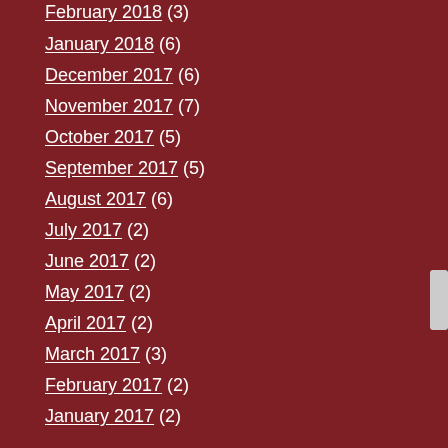February 2018 (3)
January 2018 (6)
December 2017 (6)
November 2017 (7)
October 2017 (5)
September 2017 (5)
August 2017 (6)
July 2017 (2)
June 2017 (2)
May 2017 (2)
April 2017 (2)
March 2017 (3)
February 2017 (2)
January 2017 (2)